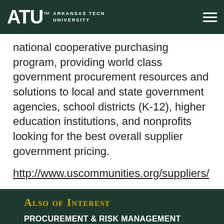Arkansas Tech University
national cooperative purchasing program, providing world class government procurement resources and solutions to local and state government agencies, school districts (K-12), higher education institutions, and nonprofits looking for the best overall supplier government pricing.
http://www.uscommunities.org/suppliers/
Also of Interest
PROCUREMENT & RISK MANAGEMENT SERVICES
Staff
New Vendor Request Form
We use cookies to improve your experience. Please read our Privacy Policy or click Accept.